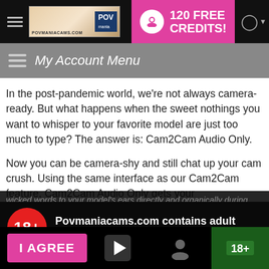POVMANIACAMS.COM - 120 FREE CREDITS!
My Account Menu
In the post-pandemic world, we're not always camera-ready. But what happens when the sweet nothings you want to whisper to your favorite model are just too much to type? The answer is: Cam2Cam Audio Only.
Now you can be camera-shy and still chat up your cam crush. Using the same interface as our Cam2Cam feature, Cam2Cam Audio Only gets your wicked words to your model's ears directly and organically during private
18+ Povmaniacams.com contains adult content
By using the site, you acknowledge you have read our Privacy Policy, and agree to our Terms and Conditions.
We use cookies to optimize your experience, analyze traffic, and deliver more personalized service. To learn more, please see our Privacy Policy.
I AGREE